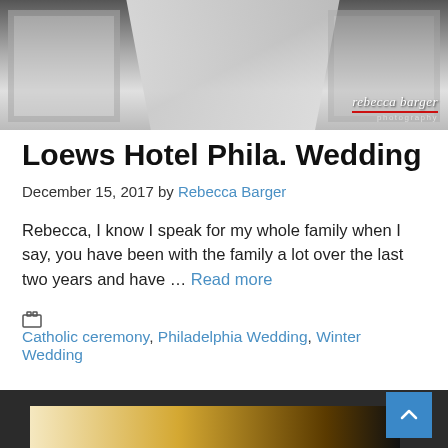[Figure (photo): Black and white wedding photo showing a bride with a curtain/window backdrop and decorative frames on either side. Watermark reads 'rebecca barger photography' in the bottom right.]
Loews Hotel Phila. Wedding
December 15, 2017 by Rebecca Barger
Rebecca, I know I speak for my whole family when I say, you have been with the family a lot over the last two years and have … Read more
Catholic ceremony, Philadelphia Wedding, Winter Wedding
[Figure (photo): Partial photo visible at the bottom of the page, showing a warm outdoor/nature scene.]